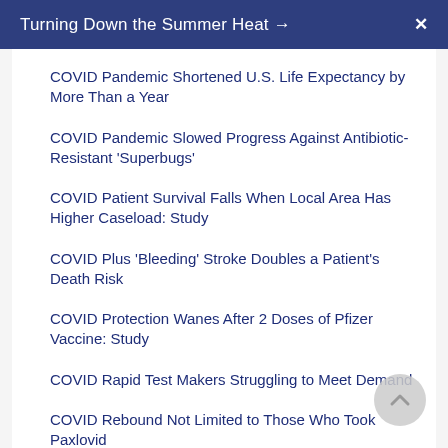Turning Down the Summer Heat →   X
COVID Pandemic Shortened U.S. Life Expectancy by More Than a Year
COVID Pandemic Slowed Progress Against Antibiotic-Resistant 'Superbugs'
COVID Patient Survival Falls When Local Area Has Higher Caseload: Study
COVID Plus 'Bleeding' Stroke Doubles a Patient's Death Risk
COVID Protection Wanes After 2 Doses of Pfizer Vaccine: Study
COVID Rapid Test Makers Struggling to Meet Demand
COVID Rebound Not Limited to Those Who Took Paxlovid
COVID Reinfections Are Now Common. Will Getting a Booster Even Help?